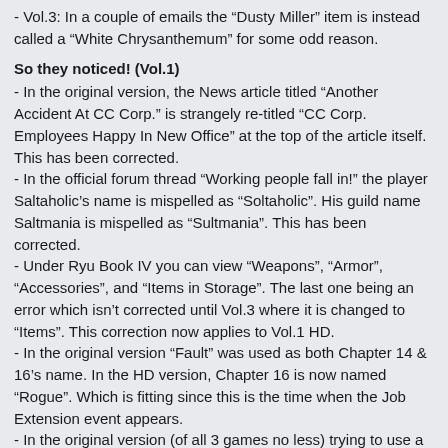- Vol.3: In a couple of emails the "Dusty Miller" item is instead called a "White Chrysanthemum" for some odd reason.
So they noticed! (Vol.1)
- In the original version, the News article titled "Another Accident At CC Corp." is strangely re-titled "CC Corp. Employees Happy In New Office" at the top of the article itself. This has been corrected.
- In the official forum thread "Working people fall in!" the player Saltaholic's name is mispelled as "Soltaholic". His guild name Saltmania is mispelled as "Sultmania". This has been corrected.
- Under Ryu Book IV you can view "Weapons", "Armor", "Accessories", and "Items in Storage". The last one being an error which isn't corrected until Vol.3 where it is changed to "Items". This correction now applies to Vol.1 HD.
- In the original version "Fault" was used as both Chapter 14 & 16's name. In the HD version, Chapter 16 is now named "Rogue". Which is fitting since this is the time when the Job Extension event appears.
- In the original version (of all 3 games no less) trying to use a Fairy's Orb in certain places would display the message: "This item cannot be used him." This has been corrected as the message now says "This item cannot be used here."
- Hangeki is now displayed when using counterattacks in arena fights. Previously in Vol.1 & 2 the Rengeki text was used.
- Tri-Strikes rengeki text was changed from "Tri.Strike" to "Tri-Strike". (was originally corrected in Vol.2)